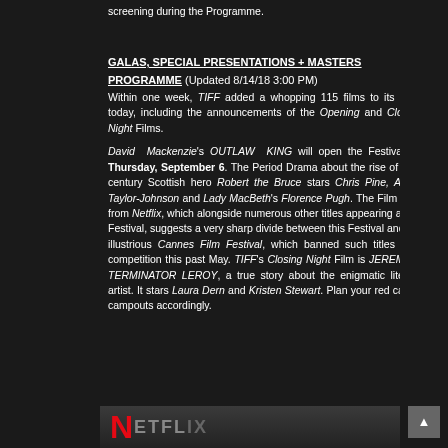screening during the Programme.
GALAS, SPECIAL PRESENTATIONS + MASTERS PROGRAMME (Updated 8/14/18 3:00 PM)
Within one week, TIFF added a whopping 115 films to its slate today, including the announcements of the Opening and Closing Night Films.

David Mackenzie's OUTLAW KING will open the Festival on Thursday, September 6. The Period Drama about the rise of 14th century Scottish hero Robert the Bruce stars Chris Pine, Aaron Taylor-Johnson and Lady MacBeth's Florence Pugh. The Film hails from Netflix, which alongside numerous other titles appearing at the Festival, suggests a very sharp divide between this Festival and the illustrious Cannes Film Festival, which banned such titles from competition this past May. TIFF's Closing Night Film is JEREMIAH TERMINATOR LEROY, a true story about the enigmatic literary artist. It stars Laura Dern and Kristen Stewart. Plan your red carpet campouts accordingly.
[Figure (photo): Bottom portion of a Netflix branded image, showing the red Netflix N logo against a dark gradient background]